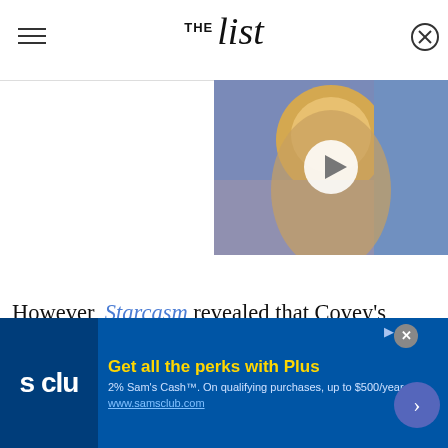THE list
[Figure (photo): Video thumbnail showing a blonde woman with short spiky hair, partially visible, with a white play button overlay in the upper right area of the page]
However, Starcasm revealed that Covey's lawsuit against Megalomedia alleged that there's a lot more to the story. The fifth person to sue the company, Cove...
[Figure (other): Advertisement banner for Sam's Club: Get all the perks with Plus. 2% Sam's Cash. On qualifying purchases, up to $500/year. www.samsclub.com]